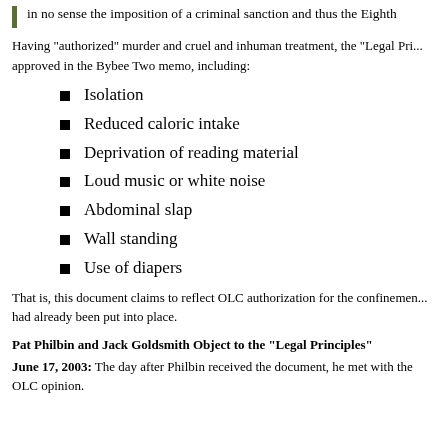in no sense the imposition of a criminal sanction and thus the Eighth
Having "authorized" murder and cruel and inhuman treatment, the "Legal Pri... approved in the Bybee Two memo, including:
Isolation
Reduced caloric intake
Deprivation of reading material
Loud music or white noise
Abdominal slap
Wall standing
Use of diapers
That is, this document claims to reflect OLC authorization for the confinemen... had already been put into place.
Pat Philbin and Jack Goldsmith Object to the "Legal Principles"
June 17, 2003: The day after Philbin received the document, he met with the OLC opinion.